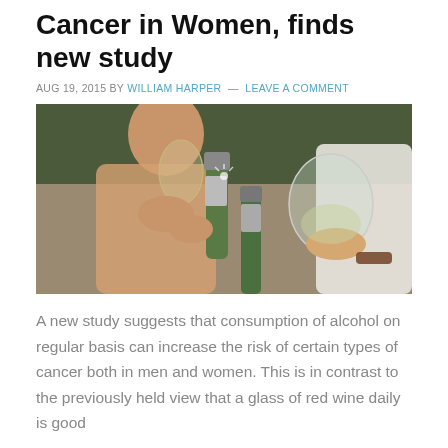Cancer in Women, finds new study
AUG 19, 2015 BY WILLIAM HARPER — LEAVE A COMMENT
[Figure (photo): People clinking glasses and a bottle at an outdoor gathering, celebrating with white wine and beer bottles.]
A new study suggests that consumption of alcohol on regular basis can increase the risk of certain types of cancer both in men and women. This is in contrast to the previously held view that a glass of red wine daily is good